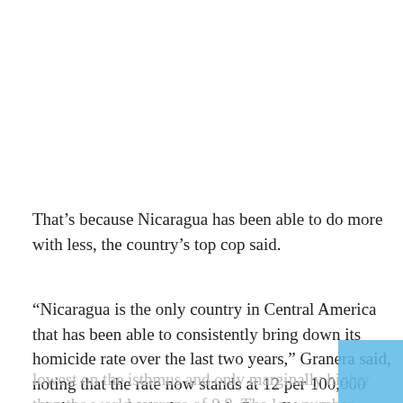That’s because Nicaragua has been able to do more with less, the country’s top cop said.
“Nicaragua is the only country in Central America that has been able to consistently bring down its homicide rate over the last two years,” Granera said, noting that the rate now stands at 12 per 100,000 inhabitants, which along with Costa Rica, is the
lowest on the isthmus and only marginally higher than the world average of 8.8. The low number stands out in a region notorious